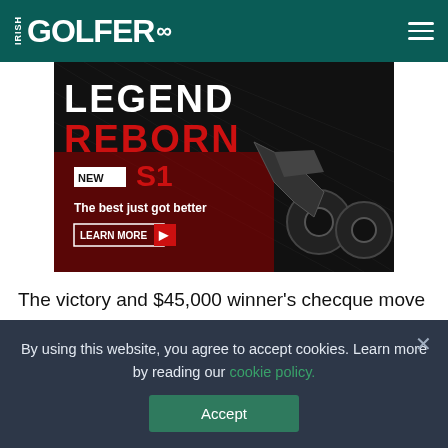IRISH GOLFER
[Figure (illustration): Advertisement for Motocaddy S1 golf trolley. Dark background with text 'LEGEND REBORN' in large letters, 'NEW S1' badge, image of black golf trolley, text 'The best just got better', and 'LEARN MORE' button.]
The victory and $45,000 winner's checque move Nuria Iturrios up 33 places to No. 3, having earned $53,508 across seven starts this season.
By using this website, you agree to accept cookies. Learn more by reading our cookie policy.